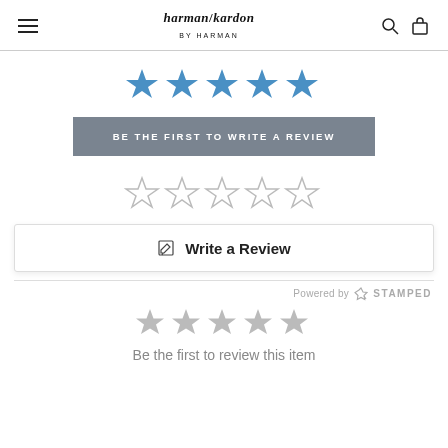harman/kardon
[Figure (other): 5 blue filled stars rating display]
BE THE FIRST TO WRITE A REVIEW
[Figure (other): 5 empty/outlined stars rating selector]
Write a Review
Powered by STAMPED
[Figure (other): 5 gray filled stars rating display]
Be the first to review this item